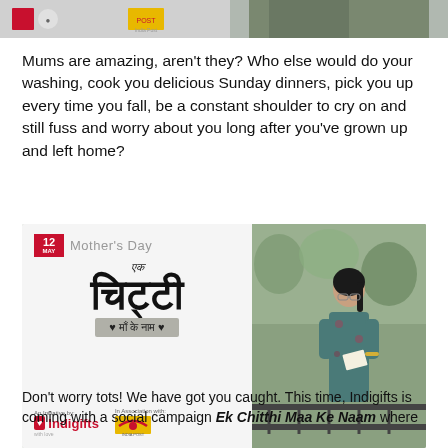[Figure (photo): Top cropped image showing partial logos and a woman on the right side]
Mums are amazing, aren't they? Who else would do your washing, cook you delicious Sunday dinners, pick you up every time you fall, be a constant shoulder to cry on and still fuss and worry about you long after you've grown up and left home?
[Figure (photo): Campaign image for Mother's Day - Ek Chitthi Maa Ke Naam, an initiative by Indigifts in association with India Post. Shows Hindi text and a woman reading a letter.]
Don't worry tots! We have got you caught. This time, Indigifts is coming with a social campaign Ek Chitthi Maa Ke Naam where